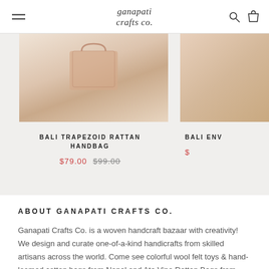ganapati crafts co.
[Figure (photo): Product photo of Bali Trapezoid Rattan Handbag on light background]
BALI TRAPEZOID RATTAN HANDBAG
$79.00  $99.00
[Figure (photo): Partial product photo of Bali Env... product on right side]
BALI ENV...  $
ABOUT GANAPATI CRAFTS CO.
Ganapati Crafts Co. is a woven handcraft bazaar with creativity! We design and curate one-of-a-kind handicrafts from skilled artisans across the world. Come see colorful wool felt toys & hand-loomed cotton bags from Nepal and Ata Vine Rattan Bags from Bali, and more!